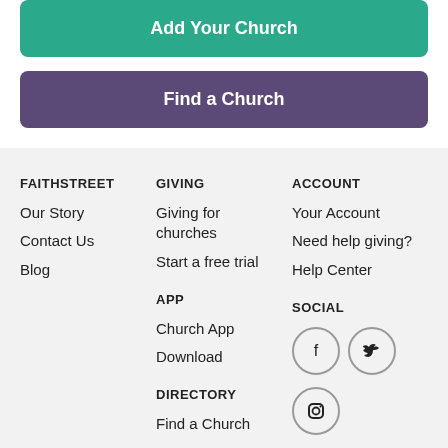Add Your Church
Find a Church
FAITHSTREET
Our Story
Contact Us
Blog
GIVING
Giving for churches
Start a free trial
APP
Church App
Download
DIRECTORY
Find a Church
ACCOUNT
Your Account
Need help giving?
Help Center
SOCIAL
[Figure (illustration): Social media icons: Facebook, Twitter, Instagram in circular outlines]